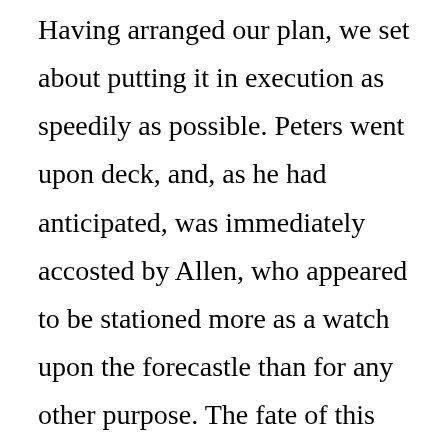Having arranged our plan, we set about putting it in execution as speedily as possible. Peters went upon deck, and, as he had anticipated, was immediately accosted by Allen, who appeared to be stationed more as a watch upon the forecastle than for any other purpose. The fate of this villain, however, was speedily and silently decided; for Peters, approaching him in a careless manner, as if about to address him, seized him by the throat, and, before he could utter a single cry, tossed him over the bulwarks. He then called to us, and we came up. Our first